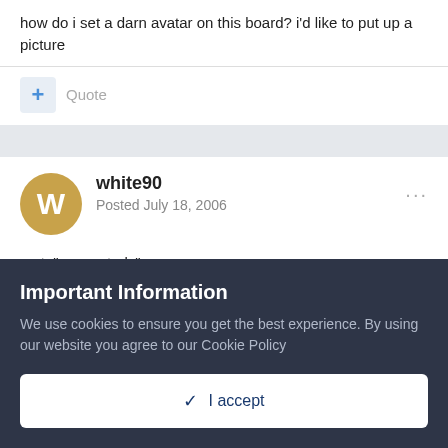how do i set a darn avatar on this board? i'd like to put up a picture
Quote
white90
Posted July 18, 2006
go to"my controls"

Left hand menu

look for
Important Information
We use cookies to ensure you get the best experience. By using our website you agree to our Cookie Policy
✓ I accept